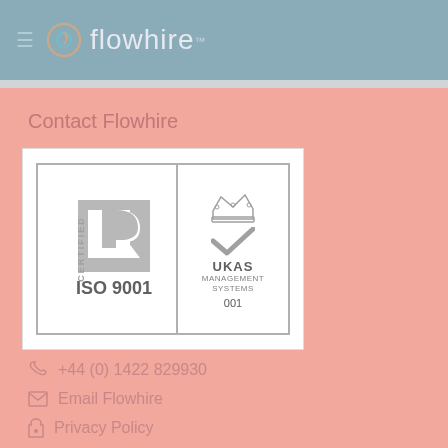flowhire
Contact Flowhire
[Figure (logo): Lloyd's Register ISO 9001 certified logo with UKAS Management Systems accreditation mark, number 001]
+44 (0) 1422 829930
Email Flowhire
Privacy Policy